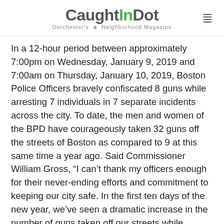CaughtInDot — Dorchester's Neighborhood Magazine
In a 12-hour period between approximately 7:00pm on Wednesday, January 9, 2019 and 7:00am on Thursday, January 10, 2019, Boston Police Officers bravely confiscated 8 guns while arresting 7 individuals in 7 separate incidents across the city. To date, the men and women of the BPD have courageously taken 32 guns off the streets of Boston as compared to 9 at this same time a year ago. Said Commissioner William Gross, “I can’t thank my officers enough for their never-ending efforts and commitment to keeping our city safe. In the first ten days of the new year, we’ve seen a dramatic increase in the number of guns taken off our streets while sending a loud and clear message that gun violence will not be tolerated in our community.”